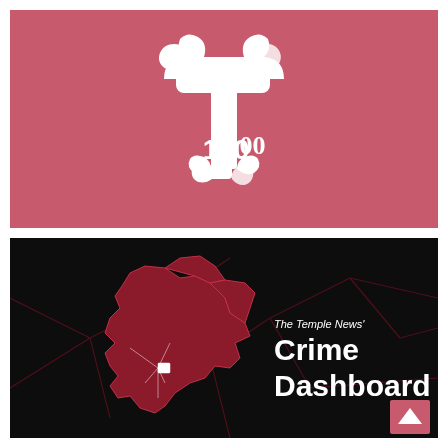[Figure (logo): The Temple News T100 logo: a decorative serif T with 100 inside, white on rose/pink background]
[Figure (infographic): The Temple News Crime Dashboard banner: Philadelphia map shape in dark red/maroon on black background with network lines, text 'The Temple News' Crime Dashboard' in white, and a rose-colored up-arrow button in bottom right corner]